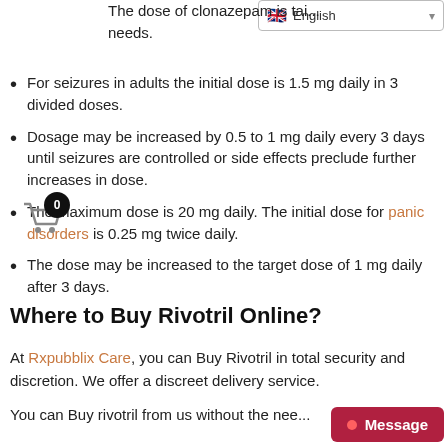The dose of clonazepam is tailored to individual needs.
For seizures in adults the initial dose is 1.5 mg daily in 3 divided doses.
Dosage may be increased by 0.5 to 1 mg daily every 3 days until seizures are controlled or side effects preclude further increases in dose.
The maximum dose is 20 mg daily. The initial dose for panic disorders is 0.25 mg twice daily.
The dose may be increased to the target dose of 1 mg daily after 3 days.
Where to Buy Rivotril Online?
At Rxpubblix Care, you can Buy Rivotril in total security and discretion. We offer a discreet delivery service.
You can Buy rivotril from us without the need...